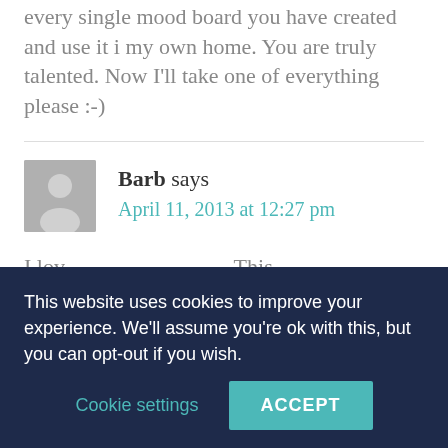every single mood board you have created and use it i my own home. You are truly talented. Now I'll take one of everything please :-)
Barb says
April 11, 2013 at 12:27 pm
I lov... (partial, obscured by cookie banner)
This website uses cookies to improve your experience. We'll assume you're ok with this, but you can opt-out if you wish.
Cookie settings  ACCEPT